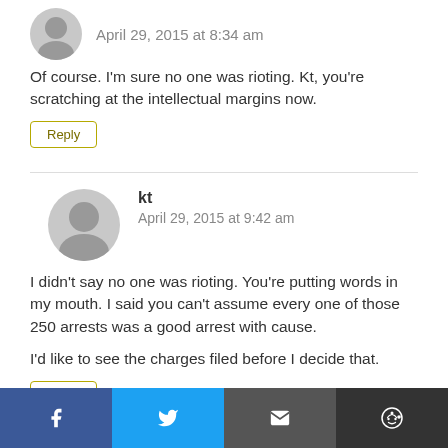April 29, 2015 at 8:34 am
Of course. I'm sure no one was rioting. Kt, you're scratching at the intellectual margins now.
Reply
kt
April 29, 2015 at 9:42 am
I didn't say no one was rioting. You're putting words in my mouth. I said you can't assume every one of those 250 arrests was a good arrest with cause.
I'd like to see the charges filed before I decide that.
Reply